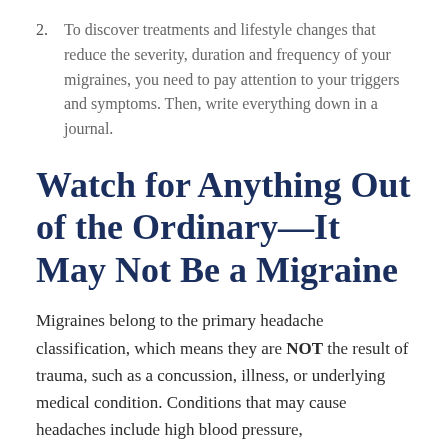2. To discover treatments and lifestyle changes that reduce the severity, duration and frequency of your migraines, you need to pay attention to your triggers and symptoms. Then, write everything down in a journal.
Watch for Anything Out of the Ordinary—It May Not Be a Migraine
Migraines belong to the primary headache classification, which means they are NOT the result of trauma, such as a concussion, illness, or underlying medical condition. Conditions that may cause headaches include high blood pressure,